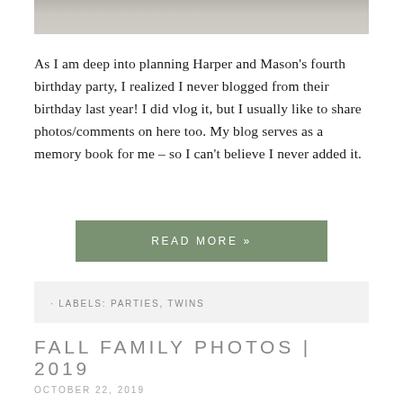[Figure (photo): Partial photo of a child's feet/legs on a tiled floor, cropped at top of page]
As I am deep into planning Harper and Mason's fourth birthday party, I realized I never blogged from their birthday last year! I did vlog it, but I usually like to share photos/comments on here too. My blog serves as a memory book for me – so I can't believe I never added it.
READ MORE »
· LABELS: PARTIES, TWINS
FALL FAMILY PHOTOS | 2019
OCTOBER 22, 2019